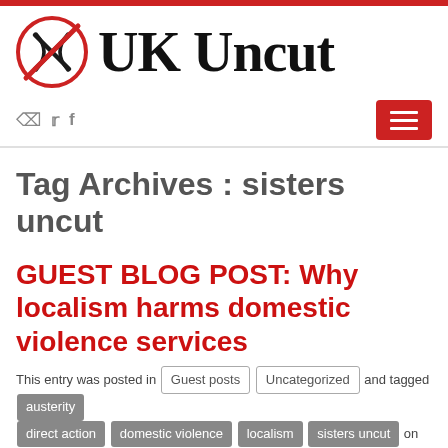[Figure (logo): UK Uncut logo with scissors crossed out in a red circle, followed by bold serif text 'UK Uncut']
Tag Archives : sisters uncut
GUEST BLOG POST: Why localism harms domestic violence services
This entry was posted in Guest posts Uncategorized and tagged austerity direct action domestic violence localism sisters uncut on May 2, 2015 by UK Uncut